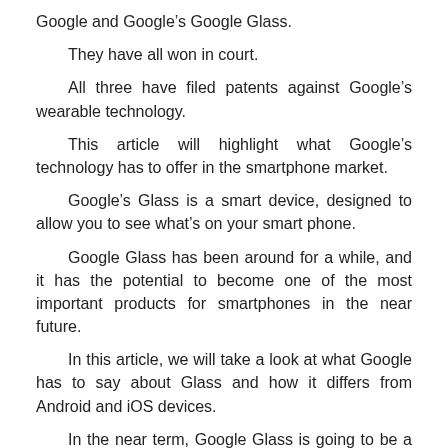Google and Google’s Google Glass.
They have all won in court.
All three have filed patents against Google’s wearable technology.
This article will highlight what Google’s technology has to offer in the smartphone market.
Google’s Glass is a smart device, designed to allow you to see what’s on your smart phone.
Google Glass has been around for a while, and it has the potential to become one of the most important products for smartphones in the near future.
In this article, we will take a look at what Google has to say about Glass and how it differs from Android and iOS devices.
In the near term, Google Glass is going to be a huge hit.